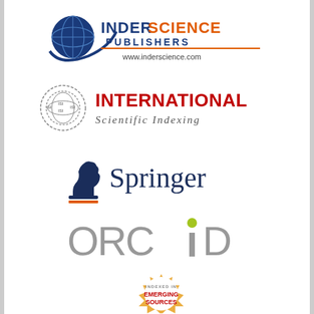[Figure (logo): Inderscience Publishers logo with globe icon, blue and orange text, and www.inderscience.com URL]
[Figure (logo): International Scientific Indexing logo with ISI emblem and red/grey text]
[Figure (logo): Springer logo with chess knight icon and dark navy text]
[Figure (logo): ORCID logo with grey and green text]
[Figure (logo): Emerging Sources Citation Index badge with orange sunburst design]